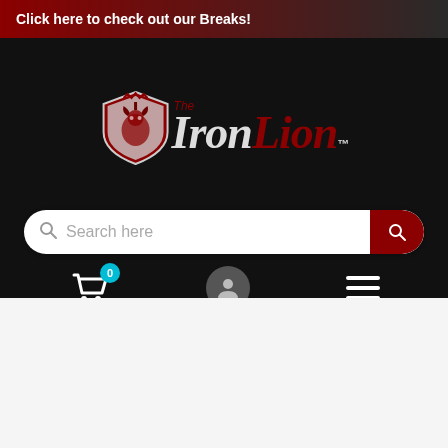Click here to check out our Breaks!
[Figure (logo): The Iron Lion logo with shield emblem and stylized text]
[Figure (screenshot): Website search bar with 'Search here' placeholder text and red search button]
[Figure (screenshot): Navigation icons: shopping cart with 0 badge, user profile circle, hamburger menu]
[Figure (photo): Magic: The Gathering card 'Sangsues terrestres' (Land Leeches) with green/black art showing slug-like creatures, mana cost 1GG]